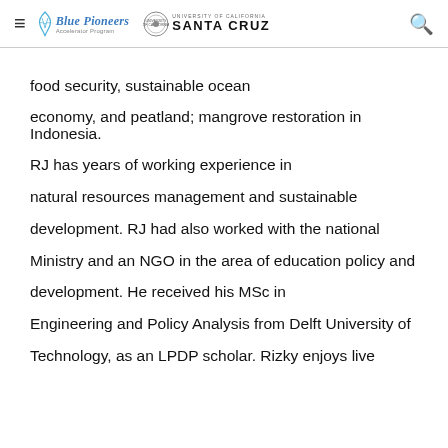Blue Pioneers Accelerator Program — University of California Santa Cruz
food security, sustainable ocean economy, and peatland; mangrove restoration in Indonesia. RJ has years of working experience in natural resources management and sustainable development. RJ had also worked with the national Ministry and an NGO in the area of education policy and development. He received his MSc in Engineering and Policy Analysis from Delft University of Technology, as an LPDP scholar. Rizky enjoys live